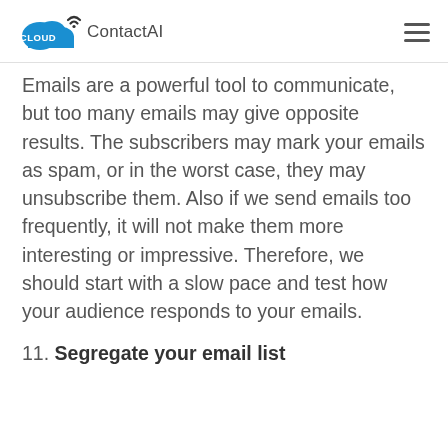Cloud ContactAI
Emails are a powerful tool to communicate, but too many emails may give opposite results. The subscribers may mark your emails as spam, or in the worst case, they may unsubscribe them. Also if we send emails too frequently, it will not make them more interesting or impressive. Therefore, we should start with a slow pace and test how your audience responds to your emails.
11. Segregate your email list